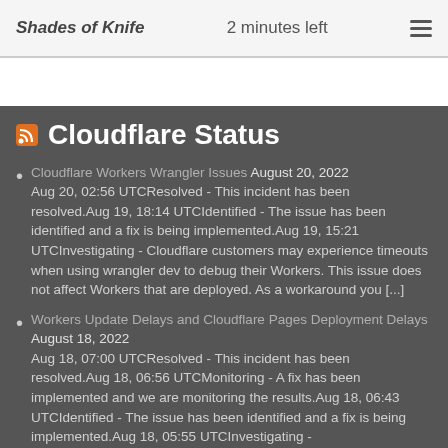Shades of Knife   2 minutes left
Cloudflare Status
Cloudflare Workers Wrangler Issues August 20, 2022 Aug 20, 02:56 UTCResolved - This incident has been resolved.Aug 19, 18:14 UTCIdentified - The issue has been identified and a fix is being implemented.Aug 19, 15:21 UTCInvestigating - Cloudflare customers may experience timeouts when using wrangler dev to debug their Workers. This issue does not affect Workers that are deployed. As a workaround you [...]
Workers Update Delays and Cloudflare Pages Deployment Delays August 18, 2022 Aug 18, 07:00 UTCResolved - This incident has been resolved.Aug 18, 06:56 UTCMonitoring - A fix has been implemented and we are monitoring the results.Aug 18, 06:43 UTCIdentified - The issue has been identified and a fix is being implemented.Aug 18, 05:55 UTCInvestigating -